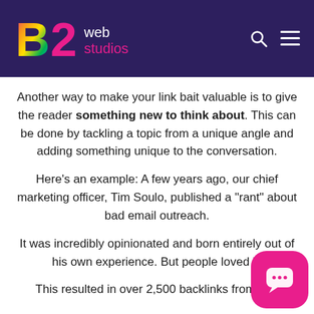B2 Web Studios
Another way to make your link bait valuable is to give the reader something new to think about. This can be done by tackling a topic from a unique angle and adding something unique to the conversation.
Here’s an example: A few years ago, our chief marketing officer, Tim Soulo, published a “rant” about bad email outreach.
It was incredibly opinionated and born entirely out of his own experience. But people loved it.
This resulted in over 2,500 backlinks from 533